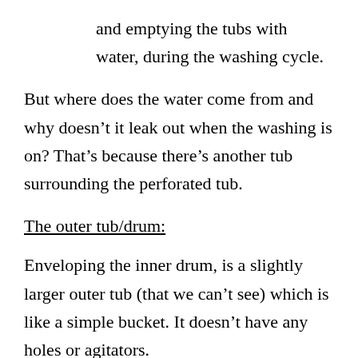and emptying the tubs with water, during the washing cycle.
But where does the water come from and why doesn't it leak out when the washing is on? That's because there's another tub surrounding the perforated tub.
The outer tub/drum:
Enveloping the inner drum, is a slightly larger outer tub (that we can't see) which is like a simple bucket. It doesn't have any holes or agitators.